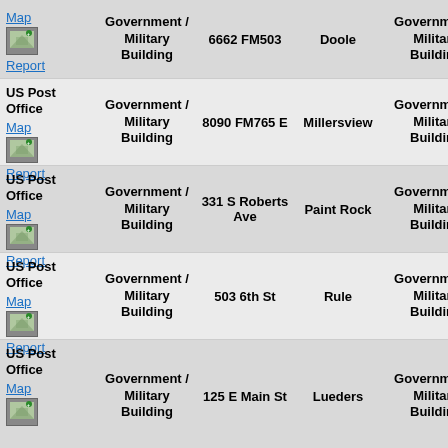| Facility | Building Type | Address | City | Building Type (2) | Notes |
| --- | --- | --- | --- | --- | --- |
| US Post Office
Map
Report | Government / Military Building | 6662 FM503 | Doole | Government / Military Building | None |
| US Post Office
Map
Report | Government / Military Building | 8090 FM765 E | Millersview | Government / Military Building | None |
| US Post Office
Map
Report | Government / Military Building | 331 S Roberts Ave | Paint Rock | Government / Military Building | None |
| US Post Office
Map
Report | Government / Military Building | 503 6th St | Rule | Government / Military Building | None |
| US Post Office
Map
Report | Government / Military Building | 125 E Main St | Lueders | Government / Military Building | None |